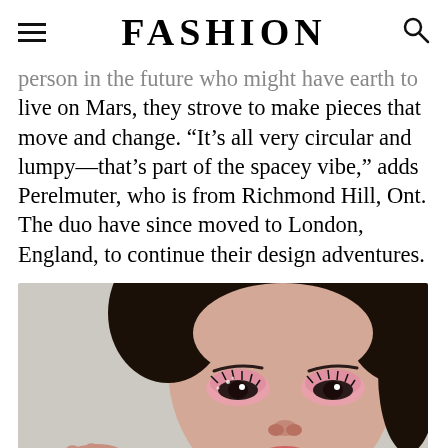FASHION
person in the future who might have earth to live on Mars, they strove to make pieces that move and change. “It’s all very circular and lumpy—that’s part of the spacey vibe,” adds Perelmuter, who is from Richmond Hill, Ont. The duo have since moved to London, England, to continue their design adventures.
[Figure (photo): Close-up portrait of a young woman with dark hair pulled back, wearing pink/rose eyeshadow makeup, looking slightly upward against a light grey background.]